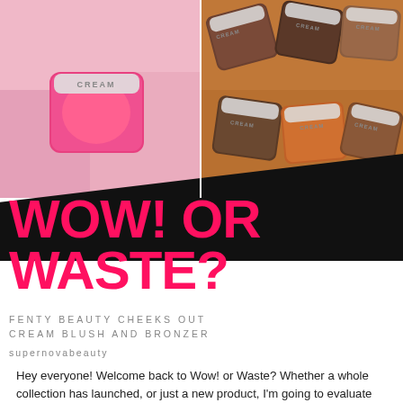[Figure (photo): Two product photos side by side: left shows a pink cream blush compact labeled CREAM on a pink background; right shows multiple bronzer compacts labeled CREAM on a warm brown/terracotta background]
WOW! OR WASTE?
FENTY BEAUTY CHEEKS OUT CREAM BLUSH AND BRONZER
supernovabeauty
Hey everyone! Welcome back to Wow! or Waste? Whether a whole collection has launched, or just a new product, I'm going to evaluate whether each product is either a Wow! buy or a Waste? of money, in terms of the price and the amount of product you get. This time around we are evaluating the new